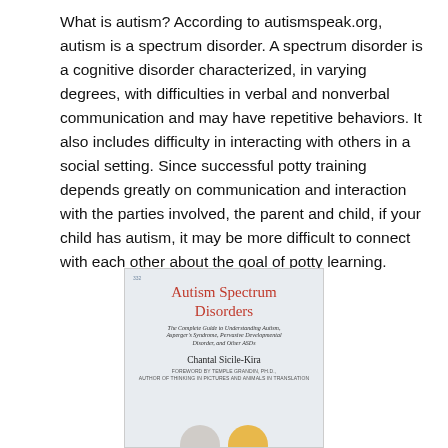What is autism?  According to autismspeak.org, autism is a spectrum disorder. A spectrum disorder is a cognitive disorder characterized, in varying degrees, with difficulties in  verbal and nonverbal communication and may have  repetitive behaviors. It also includes difficulty in interacting with others in a social setting. Since successful potty training depends greatly on communication and interaction with the parties involved, the parent and child, if your child has autism, it may be more difficult to connect with each other about the goal of potty learning.
[Figure (photo): Book cover of 'Autism Spectrum Disorders: The Complete Guide to Understanding Autism, Asperger's Syndrome, Pervasive Developmental Disorder, and Other ASDs' by Chantal Sicile-Kira, Foreword by Temple Grandin, Ph.D.]